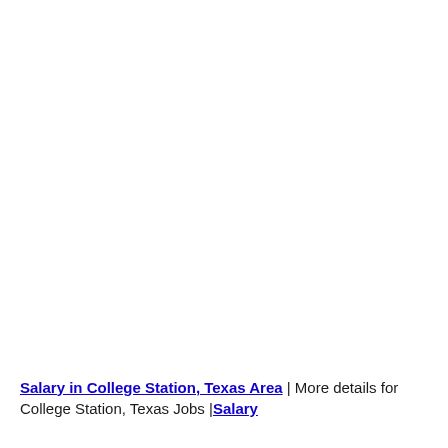Salary in College Station, Texas Area | More details for College Station, Texas Jobs |Salary